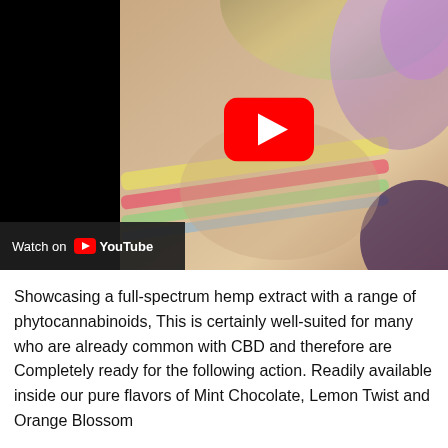[Figure (screenshot): YouTube video thumbnail showing a person exhaling colorful smoke with rainbow-colored patterns visible. A large red YouTube play button is centered on the right side. Bottom left shows a 'Watch on YouTube' bar with the YouTube logo.]
Showcasing a full-spectrum hemp extract with a range of phytocannabinoids, This is certainly well-suited for many who are already common with CBD and therefore are Completely ready for the following action. Readily available inside our pure flavors of Mint Chocolate, Lemon Twist and Orange Blossom.